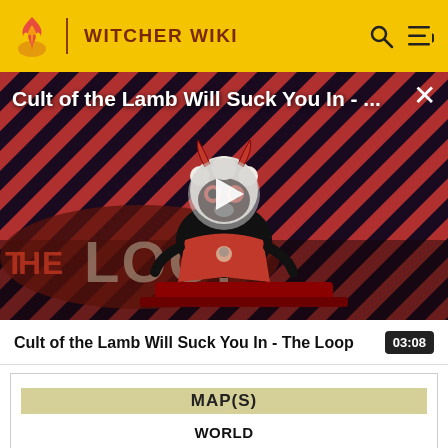WITCHER WIKI
[Figure (screenshot): Video thumbnail for 'Cult of the Lamb Will Suck You In - The Loop' showing a cartoon lamb character with red eyes on a striped red/black background with 'THE LOOP' text, and a play button overlay.]
Cult of the Lamb Will Suck You In - The Loop
03:08
MAP(S)
WORLD